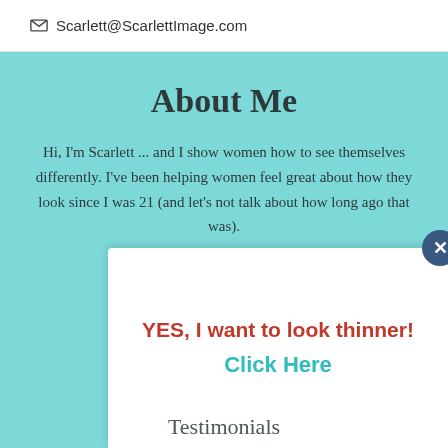Scarlett@ScarlettImage.com
About Me
Hi, I'm Scarlett ... and I show women how to see themselves differently. I've been helping women feel great about how they look since I was 21 (and let's not talk about how long ago that was).
LEARN MORE...
Pages
YES, I want to look thinner!
Click Here
Testimonials